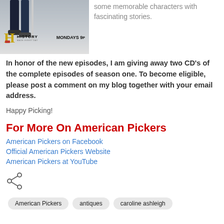[Figure (photo): History Channel American Pickers show image showing legs of two people, History Channel 'H' logo, and text 'MONDAYS 9p']
some memorable characters with fascinating stories.
In honor of the new episodes, I am giving away two CD's of the complete episodes of season one. To become eligible, please post a comment on my blog together with your email address.
Happy Picking!
For More On American Pickers
American Pickers on Facebook
Official American Pickers Website
American Pickers at YouTube
[Figure (other): Share icon (less-than angle bracket style share symbol)]
American Pickers   antiques   caroline ashleigh